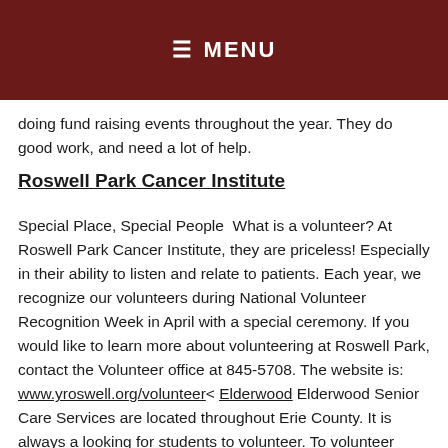≡ MENU
doing fund raising events throughout the year. They do good work, and need a lot of help.
Roswell Park Cancer Institute
Special Place, Special People  What is a volunteer? At Roswell Park Cancer Institute, they are priceless! Especially in their ability to listen and relate to patients. Each year, we recognize our volunteers during National Volunteer Recognition Week in April with a special ceremony. If you would like to learn more about volunteering at Roswell Park, contact the Volunteer office at 845-5708. The website is: www.yroswell.org/volunteer< Elderwood Elderwood Senior Care Services are located throughout Erie County. It is always a looking for students to volunteer. To volunteer